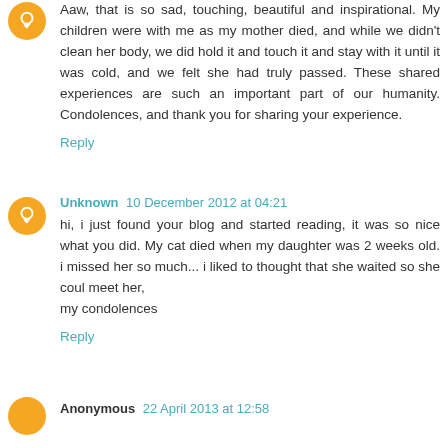Aaw, that is so sad, touching, beautiful and inspirational. My children were with me as my mother died, and while we didn't clean her body, we did hold it and touch it and stay with it until it was cold, and we felt she had truly passed. These shared experiences are such an important part of our humanity. Condolences, and thank you for sharing your experience.
Reply
Unknown 10 December 2012 at 04:21
hi, i just found your blog and started reading, it was so nice what you did. My cat died when my daughter was 2 weeks old. i missed her so much... i liked to thought that she waited so she coul meet her,
my condolences
Reply
Anonymous 22 April 2013 at 12:58